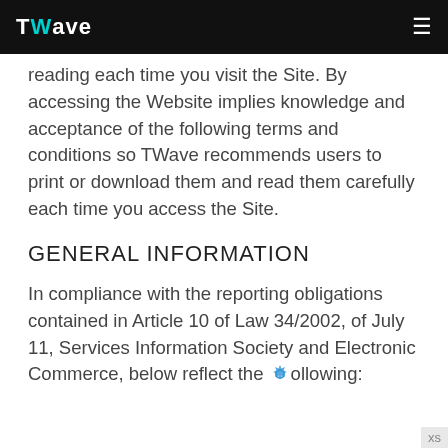TWave
reading each time you visit the Site. By accessing the Website implies knowledge and acceptance of the following terms and conditions so TWave recommends users to print or download them and read them carefully each time you access the Site.
GENERAL INFORMATION
In compliance with the reporting obligations contained in Article 10 of Law 34/2002, of July 11, Services Information Society and Electronic Commerce, below reflect the following: